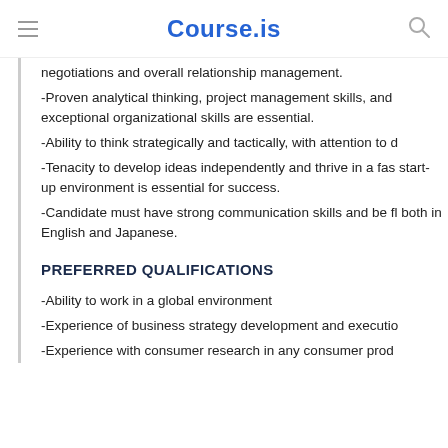Course.is
negotiations and overall relationship management.
-Proven analytical thinking, project management skills, and exceptional organizational skills are essential.
-Ability to think strategically and tactically, with attention to d
-Tenacity to develop ideas independently and thrive in a fast start-up environment is essential for success.
-Candidate must have strong communication skills and be fluent both in English and Japanese.
PREFERRED QUALIFICATIONS
-Ability to work in a global environment
-Experience of business strategy development and execution
-Experience with consumer research in any consumer prod